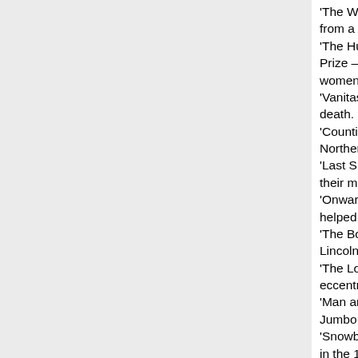'The Widow's from a newspa 'The Hunt' – s Prize – is abou women during 'Vanitas' is abo death. 'Counting the l Northern Irela 'Last Supper a their master in 'Onward' is su helped to emig 'The Body Sw Lincoln's corps 'The Long Wa eccentric in 18 'Man and Boy' Jumbo the Ele 'Snowblind' is in the 1890s K 'The Gift' is ins